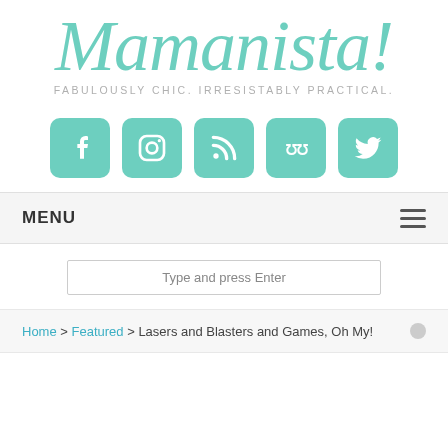[Figure (logo): Mamanista! blog logo with cursive teal text and tagline 'FABULOUSLY CHIC. IRRESISTABLY PRACTICAL.']
[Figure (infographic): Five teal rounded square social media icons: Facebook, Instagram, RSS, StumbleUpon, Twitter]
MENU ☰
Type and press Enter
Home > Featured > Lasers and Blasters and Games, Oh My!